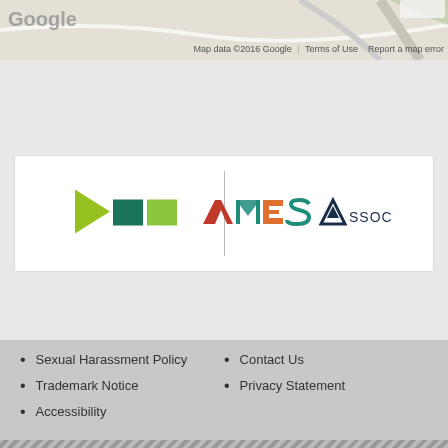[Figure (map): Google Maps partial view showing map tiles with Google logo and attribution]
Map data ©2016 Google | Terms of Use   Report a map error
[Figure (logo): White panel with two logos: a green/teal angular logo on the left and an AMES ASSOCIATION logo on the right, separated by a vertical divider]
Sexual Harassment Policy
Contact Us
Trademark Notice
Privacy Statement
Accessibility